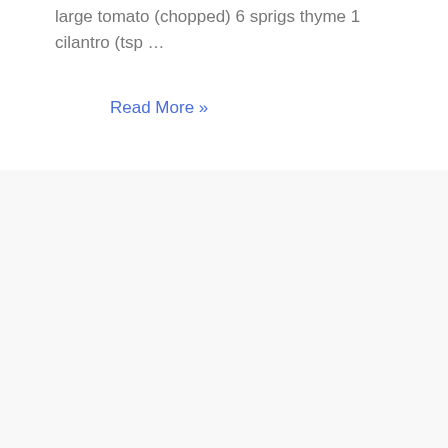large tomato (chopped) 6 sprigs thyme 1 cilantro (tsp …
Read More »